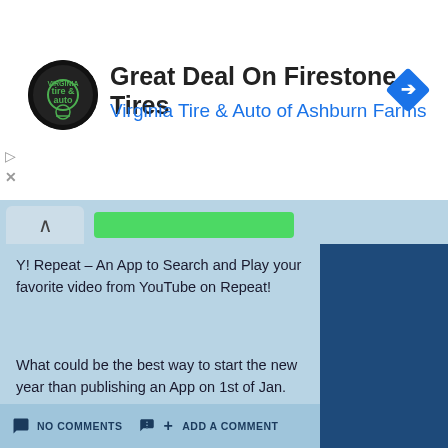[Figure (screenshot): Ad banner for Virginia Tire & Auto of Ashburn Farms showing Firestone Tires deal with circular logo and navigation icon]
Great Deal On Firestone Tires
Virginia Tire & Auto of Ashburn Farms
Y! Repeat – An App to Search and Play your favorite video from YouTube on Repeat!
What could be the best way to start the new year than publishing an App on 1st of Jan.
The App is built using Xamarin and is currently published in the PlayStore.
NO COMMENTS
ADD A COMMENT